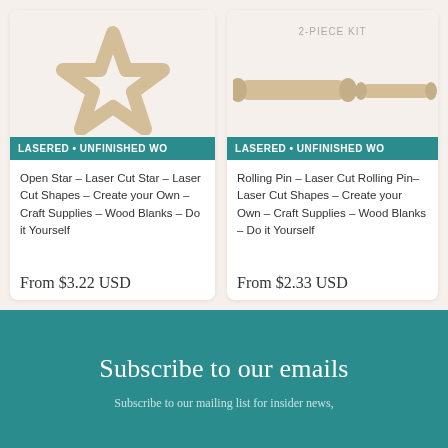[Figure (illustration): Open star laser cut wood shape illustration on beige background with teal banner reading LASERED • UNFINISHED WO]
Open Star – Laser Cut Star – Laser Cut Shapes – Create your Own – Craft Supplies – Wood Blanks – Do it Yourself
From $3.22 USD
[Figure (illustration): Rolling pin laser cut wood shapes 2-piece kit illustration on beige background with teal banner reading LASERED • UNFINISHED WO]
Rolling Pin – Laser Cut Rolling Pin– Laser Cut Shapes – Create your Own – Craft Supplies – Wood Blanks – Do it Yourself
From $2.33 USD
Subscribe to our emails
Subscribe to our mailing list for insider news,